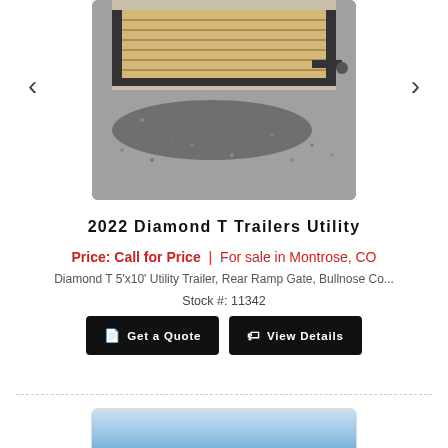[Figure (photo): Photo of a 2022 Diamond T 5x10 utility trailer with wooden deck and rear ramp gate, photographed on a gravel surface]
2022 Diamond T Trailers Utility
Price: Call for Price | For sale in Montrose, CO
Diamond T 5'x10' Utility Trailer, Rear Ramp Gate, Bullnose Co...
Stock #: 11342
Get a Quote
View Details
[Figure (photo): Partial view of another trailer listing photo showing blue sky background]